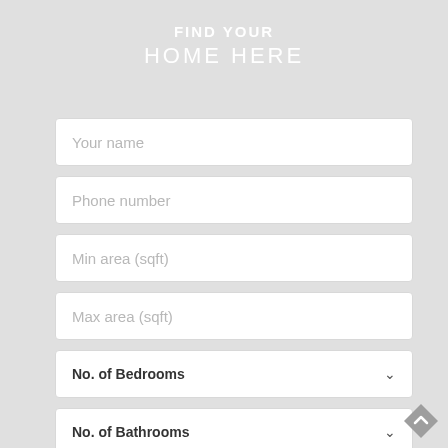FIND YOUR HOME HERE
Your name
Phone number
Min area (sqft)
Max area (sqft)
No. of Bedrooms
No. of Bathrooms